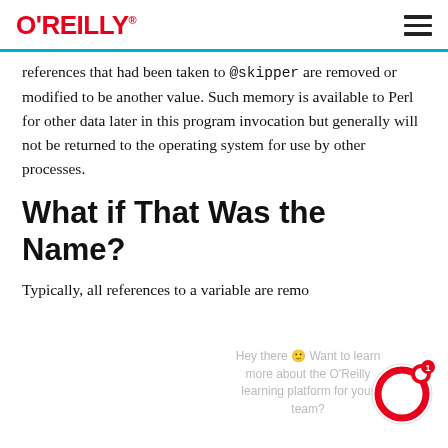O'REILLY
references that had been taken to @skipper are removed or modified to be another value. Such memory is available to Perl for other data later in this program invocation but generally will not be returned to the operating system for use by other processes.
What if That Was the Name?
Typically, all references to a variable are remo...